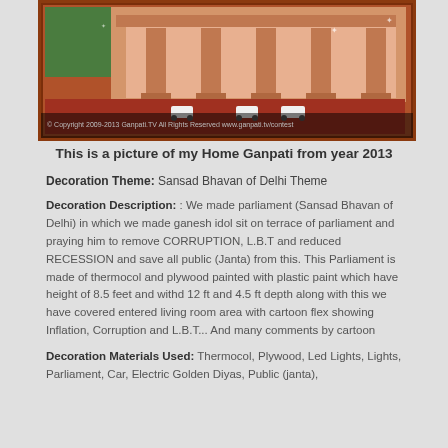[Figure (illustration): Animated/illustrated scene showing a parliament building exterior (Sansad Bhavan style) with large columns, red carpet flooring, small white cars parked outside, and green space visible. Orange/brown border surrounds the image.]
© Copyright 2009-2013 Ganpati.TV All Rights Reserved   www.ganpati.tv/contest
This is a picture of my Home Ganpati from year 2013
Decoration Theme: Sansad Bhavan of Delhi Theme
Decoration Description: : We made parliament (Sansad Bhavan of Delhi) in which we made ganesh idol sit on terrace of parliament and praying him to remove CORRUPTION, L.B.T and reduced RECESSION and save all public (Janta) from this. This Parliament is made of thermocol and plywood painted with plastic paint which have height of 8.5 feet and withd 12 ft and 4.5 ft depth along with this we have covered entered living room area with cartoon flex showing Inflation, Corruption and L.B.T... And many comments by cartoon
Decoration Materials Used: Thermocol, Plywood, Led Lights, Lights, Parliament, Car, Electric Golden Diyas, Public (janta),